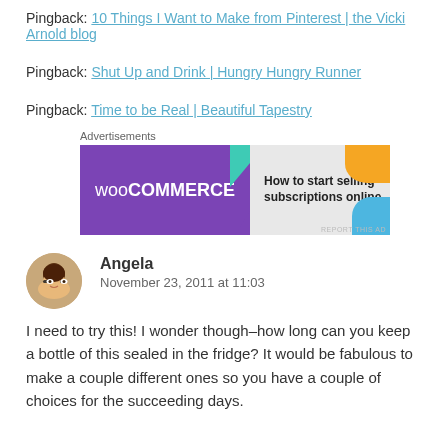Pingback: 10 Things I Want to Make from Pinterest | the Vicki Arnold blog
Pingback: Shut Up and Drink | Hungry Hungry Runner
Pingback: Time to be Real | Beautiful Tapestry
[Figure (other): WooCommerce advertisement banner: purple left side with WooCommerce logo and teal triangle, right side showing 'How to start selling subscriptions online' with orange and blue decorative shapes.]
Angela
November 23, 2011 at 11:03
I need to try this! I wonder though–how long can you keep a bottle of this sealed in the fridge? It would be fabulous to make a couple different ones so you have a couple of choices for the succeeding days.